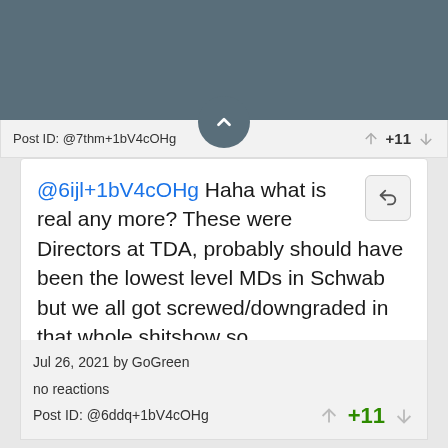Post ID: @7thm+1bV4cOHg
@6ijl+1bV4cOHg Haha what is real any more? These were Directors at TDA, probably should have been the lowest level MDs in Schwab but we all got screwed/downgraded in that whole shitshow so...
Jul 26, 2021 by GoGreen
no reactions
Post ID: @6ddq+1bV4cOHg